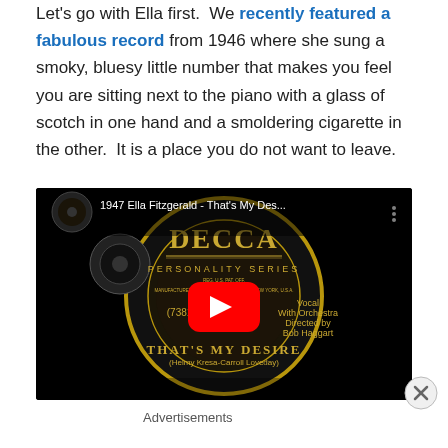Let's go with Ella first. We recently featured a fabulous record from 1946 where she sung a smoky, bluesy little number that makes you feel you are sitting next to the piano with a glass of scotch in one hand and a smoldering cigarette in the other. It is a place you do not want to leave.
[Figure (screenshot): YouTube video thumbnail showing a Decca Records label for '1947 Ella Fitzgerald - That's My Des...' Personality Series record. The label shows: (73819), Vocal With Orchestra Directed by Bob Haggart, THAT'S MY DESIRE, (Helmy Kresa-Carroll Loveday). Red YouTube play button overlay in center.]
Advertisements